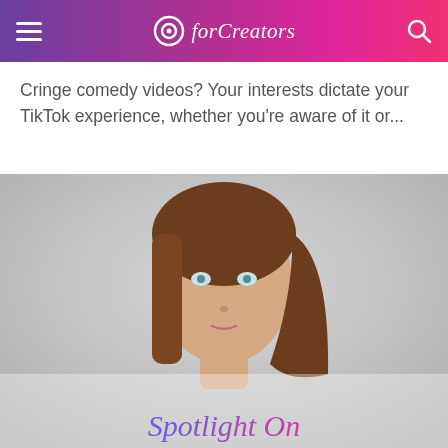forCreators
Cringe comedy videos? Your interests dictate your TikTok experience, whether you're aware of it or...
[Figure (photo): Close-up portrait of a young woman with straight brown hair and blue eyes, looking upward, with a grey gradient background. Below her image is a stylized 'Spotlight On' text in purple-to-pink gradient.]